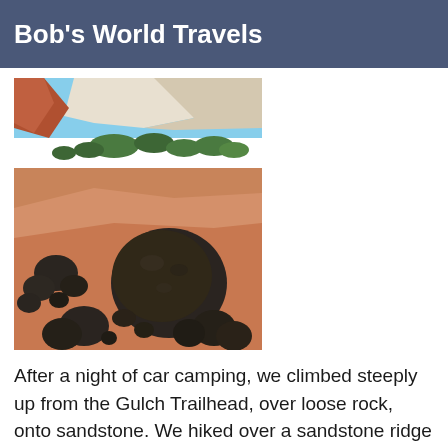Bob's World Travels
[Figure (photo): Desert landscape with large dark rounded boulders resting on red sandstone, with shrubs and mesas visible in the background under a blue sky.]
After a night of car camping, we climbed steeply up from the Gulch Trailhead, over loose rock, onto sandstone.  We hiked over a sandstone ridge covered with ancient black, round boulders.  From the top of the climb, we could see back to a number of mesas and domes and down to Long and Upper